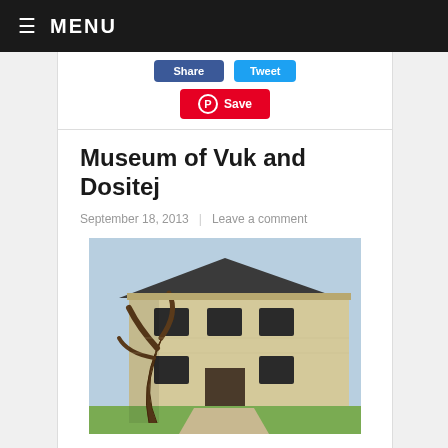≡ MENU
[Figure (screenshot): Pinterest Save button and social share buttons (Facebook, Twitter) at top of article]
Museum of Vuk and Dositej
September 18, 2013   Leave a comment
[Figure (photo): Exterior photo of the Museum of Vuk and Dositej building — a two-storey historic structure with a tree in the foreground]
Founded in 1949, it is located in the building of the former Grand School, opened in 1808 as a lyceum by the great Serb luminary and first Serbian Minister of Education Dositej Obradović. The